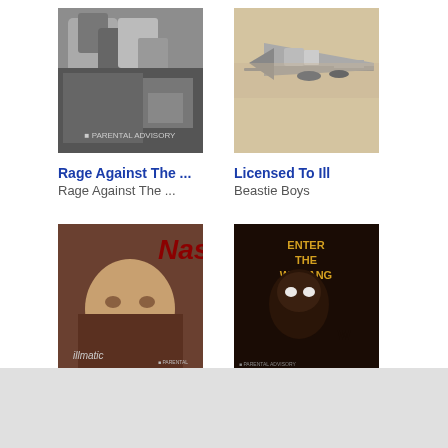[Figure (photo): Album cover for Rage Against The Machine - black and white photo]
Rage Against The ...
Rage Against The ...
[Figure (photo): Album cover for Licensed To Ill by Beastie Boys - aircraft on beige background]
Licensed To Ill
Beastie Boys
[Figure (photo): Album cover for Illmatic by Nas - child's face with Nas text]
Illmatic
Nas
[Figure (photo): Album cover for Enter The Wu-Tang by Wu-Tang Clan - hooded figure with Wu-Tang logo]
Enter The Wu-Tan...
Wu-Tang Clan
[Figure (photo): Album cover for Gorillaz - black background with cartoon characters]
[Figure (photo): Partially visible album cover - green/teal tones]